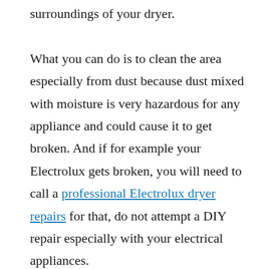surroundings of your dryer.

What you can do is to clean the area especially from dust because dust mixed with moisture is very hazardous for any appliance and could cause it to get broken. And if for example your Electrolux gets broken, you will need to call a professional Electrolux dryer repairs for that, do not attempt a DIY repair especially with your electrical appliances.